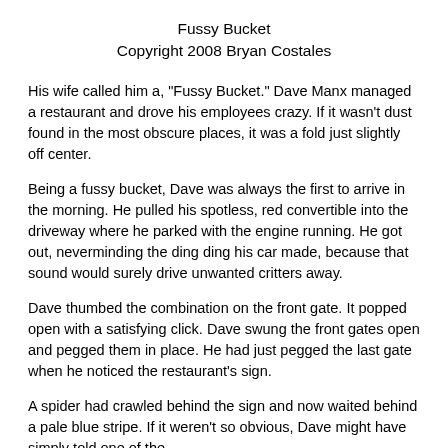Fussy Bucket
Copyright 2008 Bryan Costales
His wife called him a, "Fussy Bucket." Dave Manx managed a restaurant and drove his employees crazy. If it wasn't dust found in the most obscure places, it was a fold just slightly off center.
Being a fussy bucket, Dave was always the first to arrive in the morning. He pulled his spotless, red convertible into the driveway where he parked with the engine running. He got out, neverminding the ding ding his car made, because that sound would surely drive unwanted critters away.
Dave thumbed the combination on the front gate. It popped open with a satisfying click. Dave swung the front gates open and pegged them in place. He had just pegged the last gate when he noticed the restaurant's sign.
A spider had crawled behind the sign and now waited behind a pale blue stripe. If it weren't so obvious, Dave might have simply told one of the